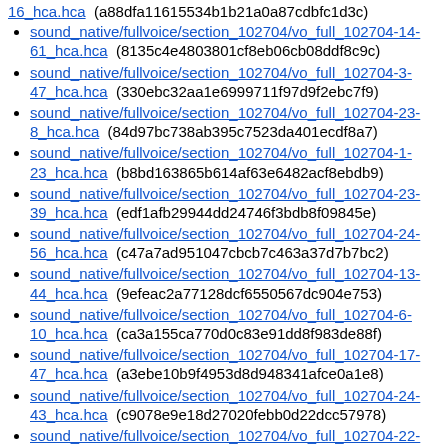sound native/fullvoice/section_102704/vo_full_102704-14-61_hca.hca (8135c4e4803801cf8eb06cb08ddf8c9c)
sound native/fullvoice/section_102704/vo_full_102704-3-47_hca.hca (330ebc32aa1e6999711f97d9f2ebc7f9)
sound native/fullvoice/section_102704/vo_full_102704-23-8_hca.hca (84d97bc738ab395c7523da401ecdf8a7)
sound native/fullvoice/section_102704/vo_full_102704-1-23_hca.hca (b8bd163865b614af63e6482acf8ebdb9)
sound native/fullvoice/section_102704/vo_full_102704-23-39_hca.hca (edf1afb29944dd24746f3bdb8f09845e)
sound native/fullvoice/section_102704/vo_full_102704-24-56_hca.hca (c47a7ad951047cbcb7c463a37d7b7bc2)
sound native/fullvoice/section_102704/vo_full_102704-13-44_hca.hca (9efeac2a77128dcf6550567dc904e753)
sound native/fullvoice/section_102704/vo_full_102704-6-10_hca.hca (ca3a155ca770d0c83e91dd8f983de88f)
sound native/fullvoice/section_102704/vo_full_102704-17-47_hca.hca (a3ebe10b9f4953d8d948341afce0a1e8)
sound native/fullvoice/section_102704/vo_full_102704-24-43_hca.hca (c9078e9e18d27020febb0d22dcc57978)
sound native/fullvoice/section_102704/vo_full_102704-22-68_hca.hca (0346521c77deb8fab519c2fe07d9f20d)
sound native/fullvoice/section_102704/vo_full_102704-15-32_hca.hca (7c0be67558b4850b92abde4e4fbd9b9b)
sound native/fullvoice/section_102704/vo_full_102704-18-...